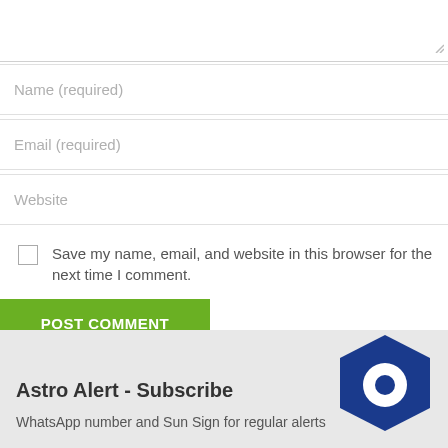[Figure (screenshot): Partial textarea input field with resize handle at bottom-right corner]
Name (required)
Email (required)
Website
Save my name, email, and website in this browser for the next time I comment.
POST COMMENT
Astro Alert - Subscribe
WhatsApp number and Sun Sign for regular alerts